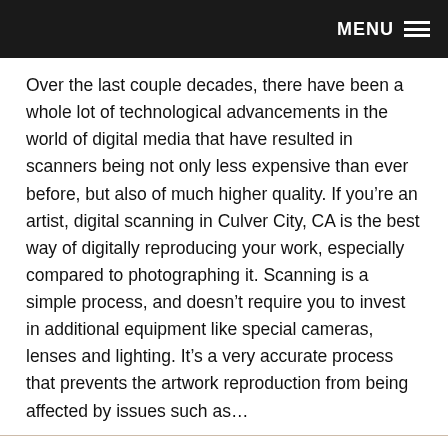MENU
Over the last couple decades, there have been a whole lot of technological advancements in the world of digital media that have resulted in scanners being not only less expensive than ever before, but also of much higher quality. If you’re an artist, digital scanning in Culver City, CA is the best way of digitally reproducing your work, especially compared to photographing it. Scanning is a simple process, and doesn’t require you to invest in additional equipment like special cameras, lenses and lighting. It’s a very accurate process that prevents the artwork reproduction from being affected by issues such as…
VIEW ARTICLE ▹